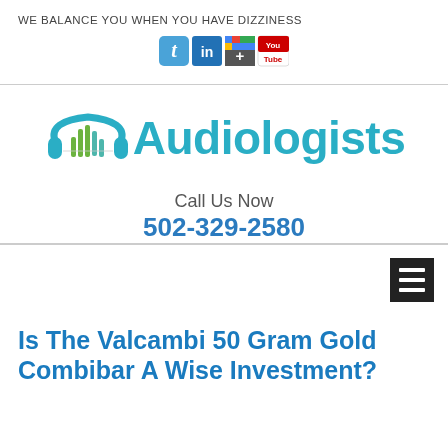WE BALANCE YOU WHEN YOU HAVE DIZZINESS
[Figure (logo): Social media icons: Twitter, LinkedIn, Google+, YouTube]
[Figure (logo): Audiologists logo with headphones and sound wave graphic in teal and green]
Call Us Now
502-329-2580
[Figure (other): Hamburger menu icon (three horizontal lines on dark background)]
Is The Valcambi 50 Gram Gold Combibar A Wise Investment?